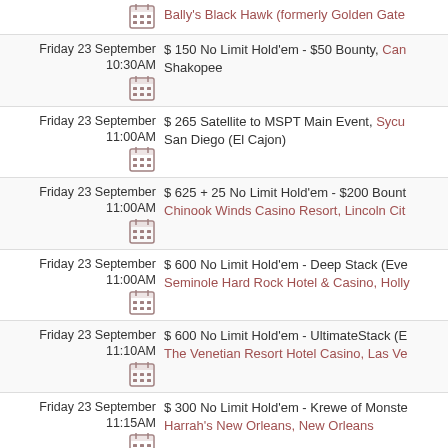| Date | Icon | Event |
| --- | --- | --- |
|  |  | Bally's Black Hawk (formerly Golden Gate... |
| Friday 23 September 10:30AM |  | $ 150 No Limit Hold'em - $50 Bounty, Can... Shakopee |
| Friday 23 September 11:00AM |  | $ 265 Satellite to MSPT Main Event, Sycu... San Diego (El Cajon) |
| Friday 23 September 11:00AM |  | $ 625 + 25 No Limit Hold'em - $200 Bount... Chinook Winds Casino Resort, Lincoln Cit... |
| Friday 23 September 11:00AM |  | $ 600 No Limit Hold'em - Deep Stack (Eve... Seminole Hard Rock Hotel & Casino, Holly... |
| Friday 23 September 11:10AM |  | $ 600 No Limit Hold'em - UltimateStack (E... The Venetian Resort Hotel Casino, Las Ve... |
| Friday 23 September 11:15AM |  | $ 300 No Limit Hold'em - Krewe of Monste... Harrah's New Orleans, New Orleans |
| Friday 23 September 12:00PM |  | Poker Masters #2 Final Day, Aria Resort &... |
| Friday 23 September 12:00PM |  | $ 600 No Limit Hold'em - Main Event (Eve... Commerce Casino, Los Angeles |
| Friday 23 September 12:00PM |  | $ 1,100 No Limit Hold'em (Ring Event #10... |